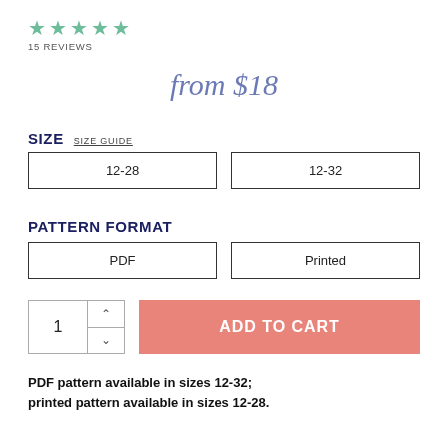[Figure (other): Five green star rating icons with '15 REVIEWS' text below]
from $18
SIZE   SIZE GUIDE
| 12-28 | 12-32 |
PATTERN FORMAT
| PDF | Printed |
1   ADD TO CART
PDF pattern available in sizes 12-32; printed pattern available in sizes 12-28.